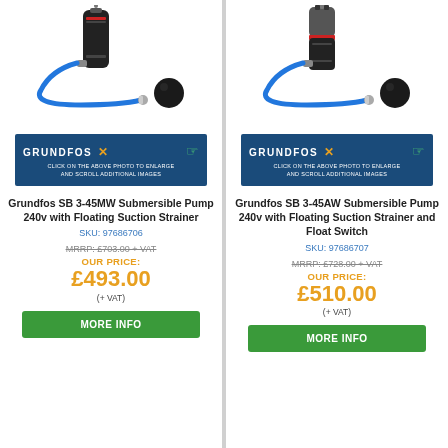[Figure (photo): Grundfos SB 3-45MW submersible pump with blue hose and black float ball]
[Figure (logo): Grundfos banner: GRUNDFOS X with click to enlarge instruction]
Grundfos SB 3-45MW Submersible Pump 240v with Floating Suction Strainer
SKU: 97686706
MRRP: £703.00 + VAT
OUR PRICE:
£493.00
(+ VAT)
MORE INFO
[Figure (photo): Grundfos SB 3-45AW submersible pump with blue hose, float switch, and black float ball]
[Figure (logo): Grundfos banner: GRUNDFOS X with click to enlarge instruction]
Grundfos SB 3-45AW Submersible Pump 240v with Floating Suction Strainer and Float Switch
SKU: 97686707
MRRP: £728.00 + VAT
OUR PRICE:
£510.00
(+ VAT)
MORE INFO